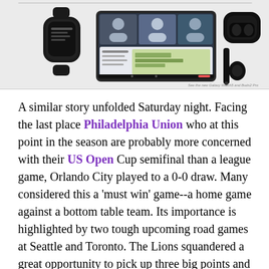[Figure (photo): Product photo showing Samsung Galaxy devices including a smartwatch, a folded tablet/phone displaying a video call, and wireless earbuds with case and stylus pen, on a light gray background. Caption text at bottom right reads: 'See the new Galaxy Watch5 and Buds2 Pro']
A similar story unfolded Saturday night. Facing the last place Philadelphia Union who at this point in the season are probably more concerned with their US Open Cup semifinal than a league game, Orlando City played to a 0-0 draw. Many considered this a 'must win' game--a home game against a bottom table team. Its importance is highlighted by two tough upcoming road games at Seattle and Toronto. The Lions squandered a great opportunity to pick up three big points and place themselves back into the playoff race.
While the Lions still have the opportunity to qualify for